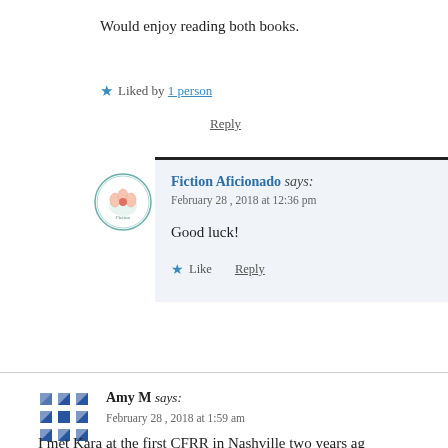Would enjoy reading both books.
★ Liked by 1 person
Reply
Fiction Aficionado says:
February 28, 2018 at 12:36 pm

Good luck!

★ Like
Reply
Amy M says:
February 28, 2018 at 1:59 am
I met Kara at the first CFRR in Nashville two years ag